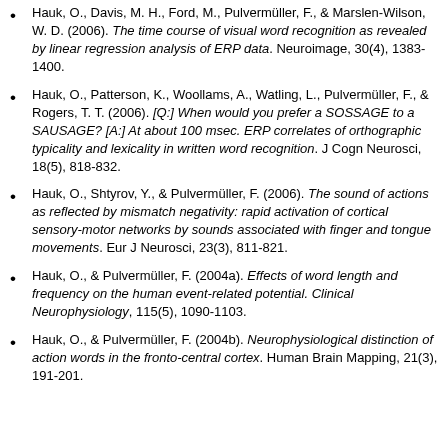Hauk, O., Davis, M. H., Ford, M., Pulvermüller, F., & Marslen-Wilson, W. D. (2006). The time course of visual word recognition as revealed by linear regression analysis of ERP data. Neuroimage, 30(4), 1383-1400.
Hauk, O., Patterson, K., Woollams, A., Watling, L., Pulvermüller, F., & Rogers, T. T. (2006). [Q:] When would you prefer a SOSSAGE to a SAUSAGE? [A:] At about 100 msec. ERP correlates of orthographic typicality and lexicality in written word recognition. J Cogn Neurosci, 18(5), 818-832.
Hauk, O., Shtyrov, Y., & Pulvermüller, F. (2006). The sound of actions as reflected by mismatch negativity: rapid activation of cortical sensory-motor networks by sounds associated with finger and tongue movements. Eur J Neurosci, 23(3), 811-821.
Hauk, O., & Pulvermüller, F. (2004a). Effects of word length and frequency on the human event-related potential. Clinical Neurophysiology, 115(5), 1090-1103.
Hauk, O., & Pulvermüller, F. (2004b). Neurophysiological distinction of action words in the fronto-central cortex. Human Brain Mapping, 21(3), 191-201.